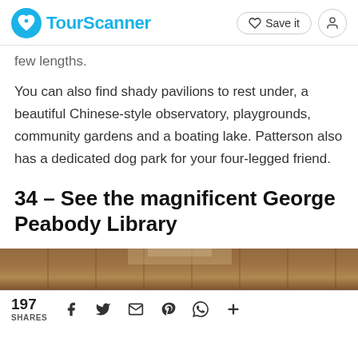TourScanner — Save it
few lengths.
You can also find shady pavilions to rest under, a beautiful Chinese-style observatory, playgrounds, community gardens and a boating lake. Patterson also has a dedicated dog park for your four-legged friend.
34 – See the magnificent George Peabody Library
[Figure (photo): Interior photo of the George Peabody Library showing ornate architecture with tall bookshelves and skylights]
197 SHARES — social share icons: Facebook, Twitter, Email, Pinterest, WhatsApp, More